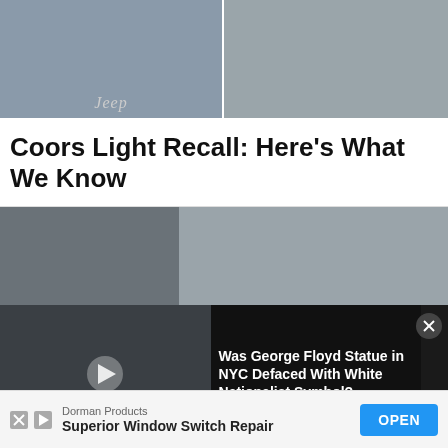[Figure (photo): Two-panel image: left shows a Jeep vehicle grille from above with handwriting on the hood; right shows someone writing on a concrete surface with a marker.]
Coors Light Recall: Here's What We Know
[Figure (photo): Two-panel image strip: left shows a building exterior; right shows a man in sunglasses.]
[Figure (photo): Video overlay showing a George Floyd statue bust with a play button, and a protest scene below. Overlay text reads: 'Was George Floyd Statue in NYC Defaced With White Nationalist Symbol?']
Was George Floyd Statue in NYC Defaced With White Nationalist Symbol?
[Figure (other): Advertisement bar: Dorman Products - Superior Window Switch Repair, with OPEN button.]
Dorman Products
Superior Window Switch Repair